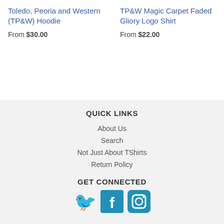Toledo, Peoria and Western (TP&W) Hoodie
From $30.00
TP&W Magic Carpet Faded Gliory Logo Shirt
From $22.00
QUICK LINKS
About Us
Search
Not Just About TShirts
Return Policy
GET CONNECTED
[Figure (illustration): Social media icons: Twitter bird icon, Facebook icon, Instagram camera icon, all in teal/blue color]